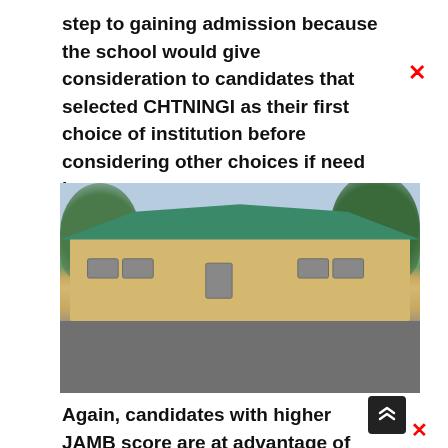step to gaining admission because the school would give consideration to candidates that selected CHTNINGI as their first choice of institution before considering other choices if need be.
[Figure (photo): Exterior photo of a low-rise institutional building with a green metal roof, beige/tan walls, set among trees with a paved road in the foreground and a cloudy sky above.]
Again, candidates with higher JAMB score are at advantage of gaining admission into CHTNINGI even though all candidates who score 120 and above are given equal opportunities to sit for the Post UTME because after calculating their aggregate score or weighted average,